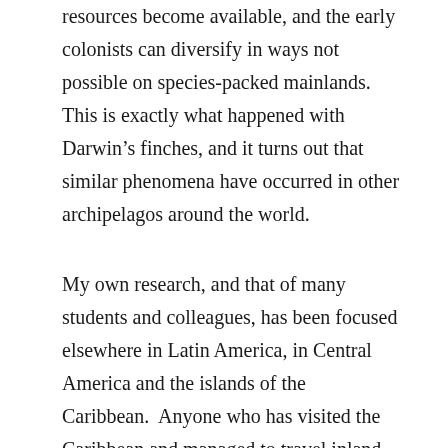resources become available, and the early colonists can diversify in ways not possible on species-packed mainlands. This is exactly what happened with Darwin's finches, and it turns out that similar phenomena have occurred in other archipelagos around the world.
My own research, and that of many students and colleagues, has been focused elsewhere in Latin America, in Central America and the islands of the Caribbean.  Anyone who has visited the Caribbean and managed to travel inland from the beach has probably noticed a small lizard with an odd